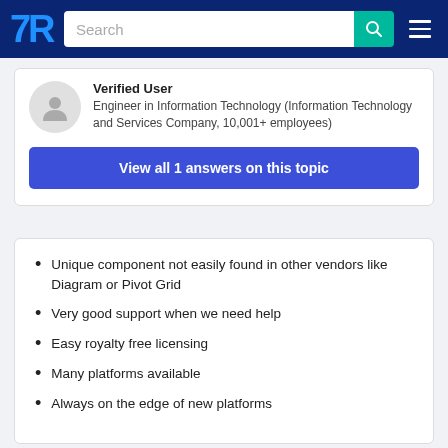TrustRadius navigation bar with logo, search, and menu
Verified User
Engineer in Information Technology (Information Technology and Services Company, 10,001+ employees)
View all 1 answers on this topic
Unique component not easily found in other vendors like Diagram or Pivot Grid
Very good support when we need help
Easy royalty free licensing
Many platforms available
Always on the edge of new platforms